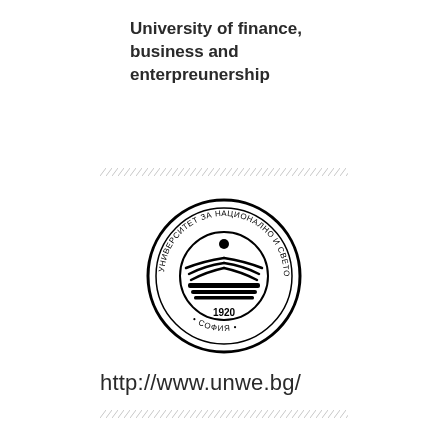University of finance, business and enterpreunership
[Figure (logo): Circular university seal/logo with Cyrillic text reading УНИВЕРСИТЕТ ЗА НАЦИОНАЛНО И СВЕТОВНО СТОПАНСТВО around the border, a stylized open book with sun rays above, and 1920 · СОФИЯ · in the lower portion]
http://www.unwe.bg/